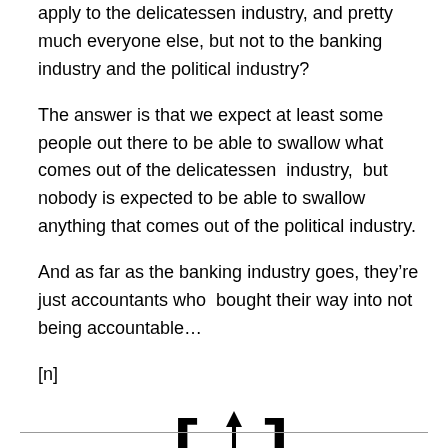apply to the delicatessen industry, and pretty much everyone else, but not to the banking industry and the political industry?
The answer is that we expect at least some people out there to be able to swallow what comes out of the delicatessen industry, but nobody is expected to be able to swallow anything that comes out of the political industry.
And as far as the banking industry goes, they’re just accountants who bought their way into not being accountable…
[n]
[Figure (other): A typographic symbol showing brackets and an upward arrow with a curl at the bottom, resembling [ ↑ ] with a question mark curl]